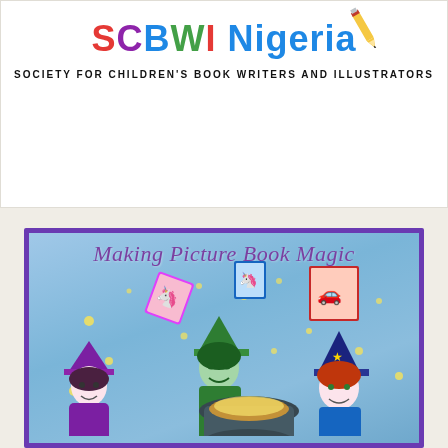[Figure (logo): SCBWI Nigeria logo with colored letters spelling SCBWI Nigeria and a pencil illustration, with tagline SOCIETY FOR CHILDREN'S BOOK WRITERS AND ILLUSTRATORS]
[Figure (illustration): Making Picture Book Magic book cover illustration showing three children dressed as witches/wizards with hats, around a cauldron with magical books and sparkles floating above on a blue gradient background with purple border]